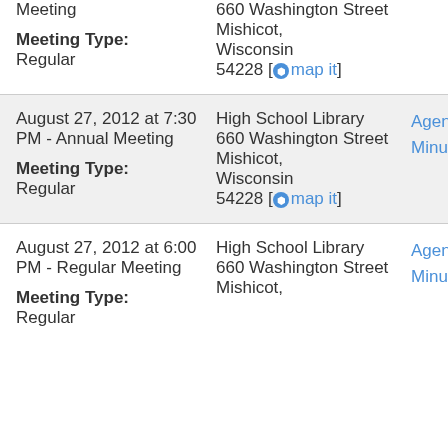Meeting

Meeting Type:
Regular

660 Washington Street Mishicot, Wisconsin 54228 [map it]
August 27, 2012 at 7:30 PM - Annual Meeting

Meeting Type:
Regular

High School Library 660 Washington Street Mishicot, Wisconsin 54228 [map it]

Agenda
Minutes
August 27, 2012 at 6:00 PM - Regular Meeting

Meeting Type:
Regular

High School Library 660 Washington Street Mishicot, Wisconsin 54228 [map it]

Agenda
Minutes